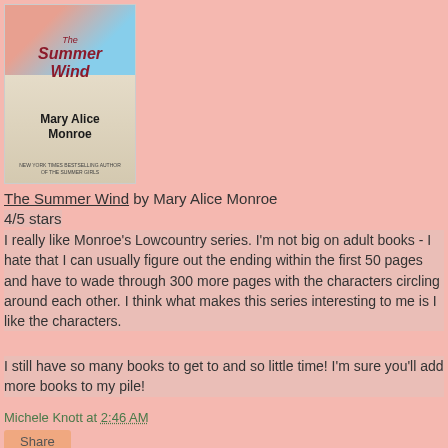[Figure (illustration): Book cover for 'The Summer Wind' by Mary Alice Monroe, showing a woman in a red dress on a beach background with sea grass]
The Summer Wind by Mary Alice Monroe
4/5 stars
I really like Monroe's Lowcountry series.  I'm not big on adult books - I hate that I can usually figure out the ending within the first 50 pages and have to wade through 300 more pages with the characters circling around each other.  I think what makes this series interesting to me is I like the characters.
I still have so many books to get to and so little time!  I'm sure you'll add more books to my pile!
Michele Knott at 2:46 AM
Share